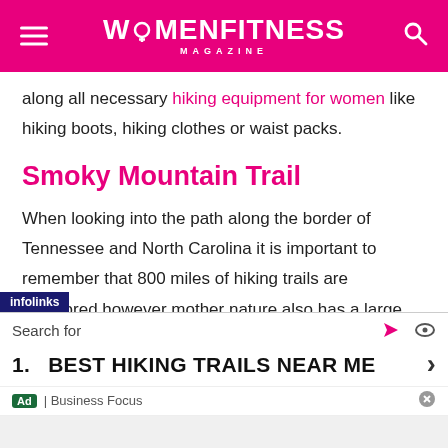WOMENFITNESS MAGAZINE
along all necessary hiking equipment for women like hiking boots, hiking clothes or waist packs.
Smoky Mountain Trail
When looking into the path along the border of Tennessee and North Carolina it is important to remember that 800 miles of hiking trails are monitored however mother nature also has a large amount of control over the nature of the path. Therefore, it is important to ensure that you check the weather before heading to this picturesque location to ensure
[Figure (screenshot): Infolinks ad overlay with search bar showing '1. BEST HIKING TRAILS NEAR ME' and Business Focus attribution]
Search for
1. BEST HIKING TRAILS NEAR ME
Ad | Business Focus